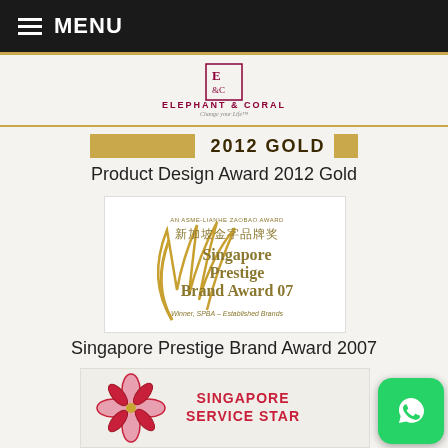MENU
[Figure (logo): Elephant & Coral logo with tagline 'Change your Life']
2012 GOLD
Product Design Award 2012 Gold
[Figure (logo): Singapore Prestige Brand Award 07 logo - AN ASME-LIANHE ZAOBAO AWARD, Winner, SPBA - Established Brands]
Singapore Prestige Brand Award 2007
[Figure (logo): Singapore Service Star award logo with red and pink flower design]